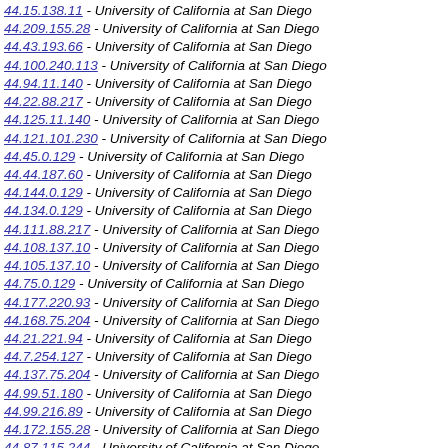44.15.138.11 - University of California at San Diego
44.209.155.28 - University of California at San Diego
44.43.193.66 - University of California at San Diego
44.100.240.113 - University of California at San Diego
44.94.11.140 - University of California at San Diego
44.22.88.217 - University of California at San Diego
44.125.11.140 - University of California at San Diego
44.121.101.230 - University of California at San Diego
44.45.0.129 - University of California at San Diego
44.44.187.60 - University of California at San Diego
44.144.0.129 - University of California at San Diego
44.134.0.129 - University of California at San Diego
44.111.88.217 - University of California at San Diego
44.108.137.10 - University of California at San Diego
44.105.137.10 - University of California at San Diego
44.75.0.129 - University of California at San Diego
44.177.220.93 - University of California at San Diego
44.168.75.204 - University of California at San Diego
44.21.221.94 - University of California at San Diego
44.7.254.127 - University of California at San Diego
44.137.75.204 - University of California at San Diego
44.99.51.180 - University of California at San Diego
44.99.216.89 - University of California at San Diego
44.172.155.28 - University of California at San Diego
44.87.115.244 - University of California at San Diego
44.50.2.131 - University of California at San Diego
44.182.151.24 - University of California at San Diego
44.1.159.32 - University of California at San Diego
44.66.89.218 - University of California at San Diego
44.105.224.97 - University of California at San Diego